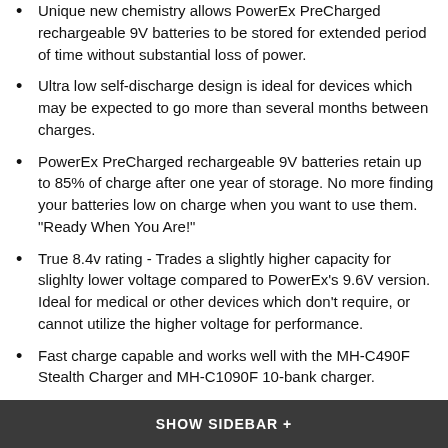Unique new chemistry allows PowerEx PreCharged rechargeable 9V batteries to be stored for extended period of time without substantial loss of power.
Ultra low self-discharge design is ideal for devices which may be expected to go more than several months between charges.
PowerEx PreCharged rechargeable 9V batteries retain up to 85% of charge after one year of storage. No more finding your batteries low on charge when you want to use them. "Ready When You Are!"
True 8.4v rating - Trades a slightly higher capacity for slighlty lower voltage compared to PowerEx's 9.6V version. Ideal for medical or other devices which don't require, or cannot utilize the higher voltage for performance.
Fast charge capable and works well with the MH-C490F Stealth Charger and MH-C1090F 10-bank charger.
Rechargeable up to hundreds of times.
PowerEx PreCharged rechargeable 9V batteries come pre-charged and ready to use out-of-package.
Rated capacity: 300mAh
SHOW SIDEBAR +